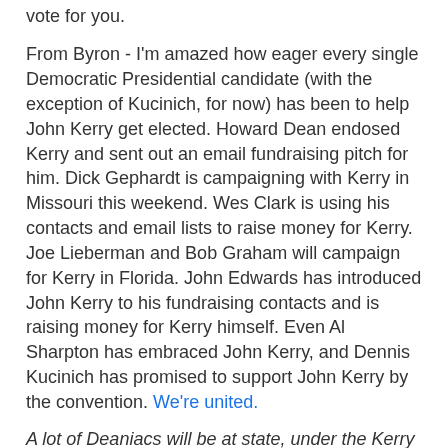vote for you.
From Byron - I'm amazed how eager every single Democratic Presidential candidate (with the exception of Kucinich, for now) has been to help John Kerry get elected. Howard Dean endosed Kerry and sent out an email fundraising pitch for him. Dick Gephardt is campaigning with Kerry in Missouri this weekend. Wes Clark is using his contacts and email lists to raise money for Kerry. Joe Lieberman and Bob Graham will campaign for Kerry in Florida. John Edwards has introduced John Kerry to his fundraising contacts and is raising money for Kerry himself. Even Al Sharpton has embraced John Kerry, and Dennis Kucinich has promised to support John Kerry by the convention. We're united.
A lot of Deaniacs will be at state, under the Kerry banners.
Gary at 3/31/2004    No comments:
Share